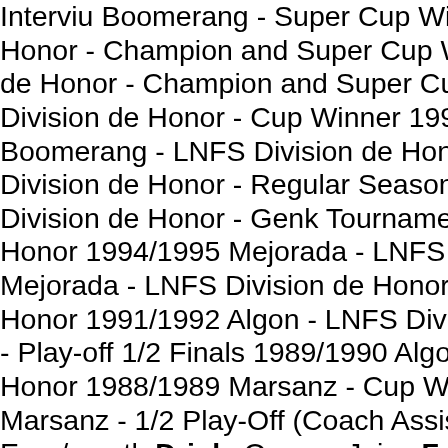Interviu Boomerang - Super Cup Wi... Honor - Champion and Super Cup W... de Honor - Champion and Super Cu... Division de Honor - Cup Winner 199... Boomerang - LNFS Division de Hon... Division de Honor - Regular Season... Division de Honor - Genk Tourname... Honor 1994/1995 Mejorada - LNFS ... Mejorada - LNFS Division de Honor... Honor 1991/1992 Algon - LNFS Divi... - Play-off 1/2 Finals 1989/1990 Algo... Honor 1988/1989 Marsanz - Cup W... Marsanz - 1/2 Play-Off (Coach Assis... Euro/month Drink: Orange Juice Fo... Clothing: Sports and elegant (depe... Actress: Michele Pffeifer Film: Jesu... Ken Follett Women you like: all Mu... Place for holidays: Menorca Footb... Sports game you like: Futsal, Han... the future visions) 3 wishes: That th... Without Futsal what you would li...